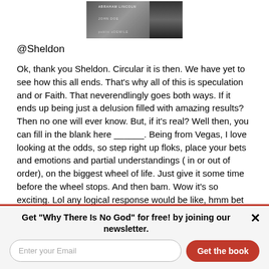[Figure (photo): Black and white book cover image, partially visible at top of page]
@Sheldon
Ok, thank you Sheldon. Circular it is then. We have yet to see how this all ends. That's why all of this is speculation and or Faith. That neverendlingly goes both ways. If it ends up being just a delusion filled with amazing results? Then no one will ever know. But, if it's real? Well then, you can fill in the blank here ______. Being from Vegas, I love looking at the odds, so step right up floks, place your bets and emotions and partial understandings ( in or out of order), on the biggest wheel of life. Just give it some time before the wheel stops. And then bam. Wow it's so exciting. Lol any logical response would be like, hmm bet on winning something (at the cost of nothing) or bet on winning nothing (at the cost of
Get "Why There Is No God" for free! by joining our newsletter.
Enter your Email
Get the book